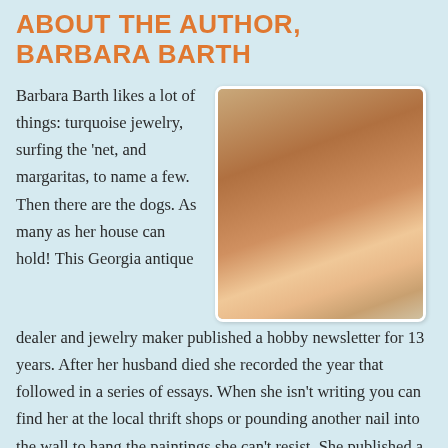ABOUT THE AUTHOR, BARBARA BARTH
[Figure (photo): Portrait photo of Barbara Barth, a woman wearing a straw hat with a brown band, turquoise and coral beaded necklace, and a white top, smiling outdoors.]
Barbara Barth likes a lot of things: turquoise jewelry, surfing the 'net, and margaritas, to name a few. Then there are the dogs. As many as her house can hold! This Georgia antique dealer and jewelry maker published a hobby newsletter for 13 years. After her husband died she recorded the year that followed in a series of essays. When she isn't writing you can find her at the local thrift shops or pounding another nail into the wall to hang the paintings she can't resist. She published a memoir The Unfaithful Widow and Danger in her Words, her debut novel.